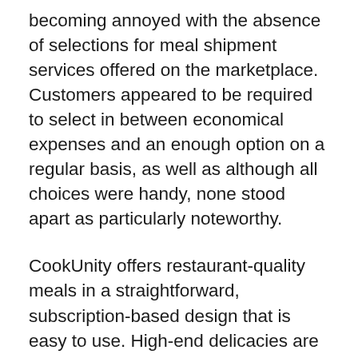becoming annoyed with the absence of selections for meal shipment services offered on the marketplace. Customers appeared to be required to select in between economical expenses and an enough option on a regular basis, as well as although all choices were handy, none stood apart as particularly noteworthy.
CookUnity offers restaurant-quality meals in a straightforward, subscription-based design that is easy to use. High-end delicacies are readily available at a low cost thanks to the solution, which links professional chefs with day-to-day consumers. CookUnity promotes itself as being a chef-driven establishment, serving customized dishes that differ once a week and are created for diversity.